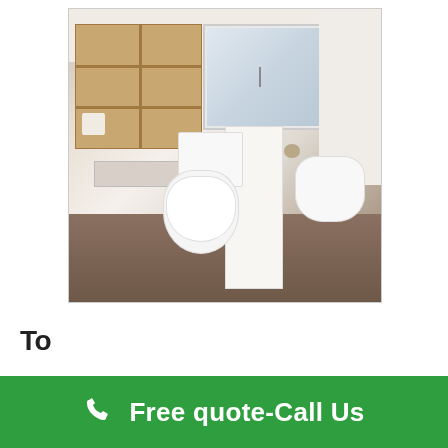[Figure (photo): Interior photo of a modern bathroom showing a wooden shelf unit with storage compartments, a mirror medicine cabinet, a white toilet, a pedestal sink, a tall white cabinet, a radiator/heater, and a second mirror on the right side. The floor is dark brown/maroon tile. The walls are white/cream colored.]
To [partial text cut off]
Free quote-Call Us